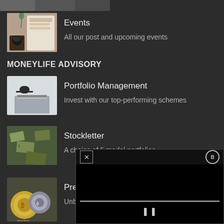[Figure (photo): Partially visible cropped image at top of page]
[Figure (photo): Coffee cup and open magazine/book on white surface]
Events
All our post and upcoming events
MONEYLIFE ADVISORY
[Figure (photo): Glasses and laptop on white desk]
Portfolio Management
Invest with our top-performing schemes
[Figure (photo): Pile of US dollar bills]
Stockletter
A choice of 5 model portfolios
[Figure (photo): Cryptocurrency coins including Bitcoin and Ethereum]
Premium Mem
Unbiased resear
[Figure (screenshot): Video player overlay with close button, play/pause button, and progress bar]